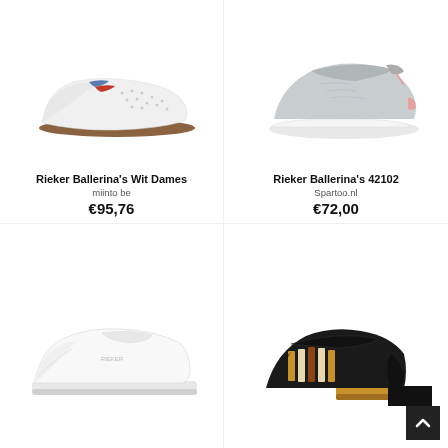[Figure (photo): Rieker white ballerina flat shoe with blue and red stripe, perforated upper, brown sole]
Rieker Ballerina's Wit Dames
miinto be
€95,76
[Figure (photo): Rieker grey mesh Mary Jane sneaker with velcro strap, white chunky sole]
Rieker Ballerina's 42102
Spartoo.nl
€72,00
[Figure (photo): Rieker white leather slip-on sneaker with elastic closure, platform sole]
[Figure (photo): Rieker black suede Mary Jane shoe with colorful woven strap detail, tan stacked heel]